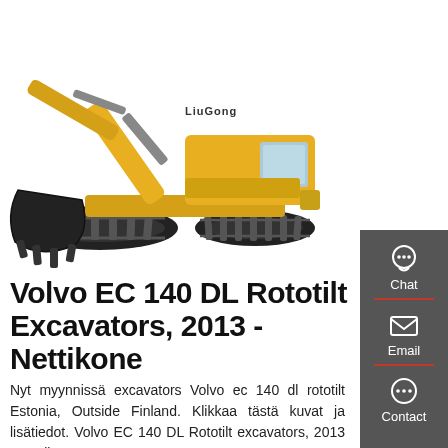[Figure (photo): A large yellow LiuGong tracked excavator photographed on white background, showing the full machine with extended boom, arm, and bucket attachment.]
Volvo EC 140 DL Rototilt Excavators, 2013 - Nettikone
Nyt myynnissä excavators Volvo ec 140 dl rototilt Estonia, Outside Finland. Klikkaa tästä kuvat ja lisätiedot. Volvo EC 140 DL Rototilt excavators, 2013 - Nettikone